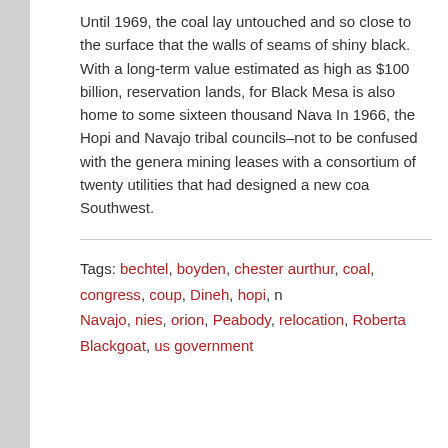Until 1969, the coal lay untouched and so close to the surface that the walls of seams of shiny black. With a long-term value estimated as high as $100 billion, reservation lands, for Black Mesa is also home to some sixteen thousand Nava In 1966, the Hopi and Navajo tribal councils–not to be confused with the genera mining leases with a consortium of twenty utilities that had designed a new coa Southwest.
Tags: bechtel, boyden, chester aurthur, coal, congress, coup, Dineh, hopi, n Navajo, nies, orion, Peabody, relocation, Roberta Blackgoat, us government